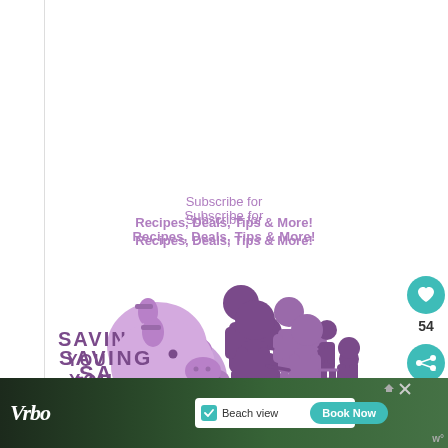Subscribe for
Recipes, Deals, Tips & More!
[Figure (logo): Saving You Dinero logo with piggy bank and family silhouette in purple]
Subscribe to Saving you Dinero!
Get updates on the latest posts and more from Saving
[Figure (infographic): Vrbo advertisement banner with beach view and Book Now button]